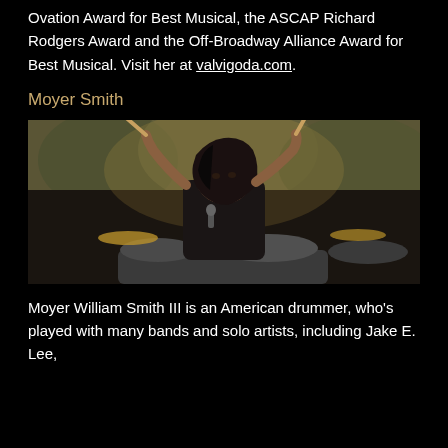Ovation Award for Best Musical, the ASCAP Richard Rodgers Award and the Off-Broadway Alliance Award for Best Musical. Visit her at valvigoda.com.
Moyer Smith
[Figure (photo): A drummer with long dark hair playing drums with two drumsticks raised, photographed from slightly below, with a blurred outdoor background.]
Moyer William Smith III is an American drummer, who's played with many bands and solo artists, including Jake E. Lee,